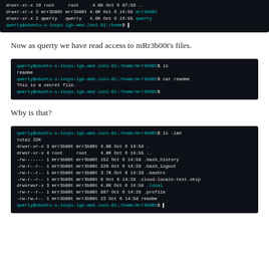[Figure (screenshot): Terminal showing ls /home output with mrr3b00t and qwerty directories, and a shell prompt]
Now as querty we have read access to mRr3b00t's files.
[Figure (screenshot): Terminal showing qwerty user navigating to /home/mrr3b00t, running ls (showing readme), then cat readme (showing 'This is a secret file.')]
Why is that?
[Figure (screenshot): Terminal showing ls -lah output in /home/mrr3b00t directory listing all files with permissions, sizes, and dates]